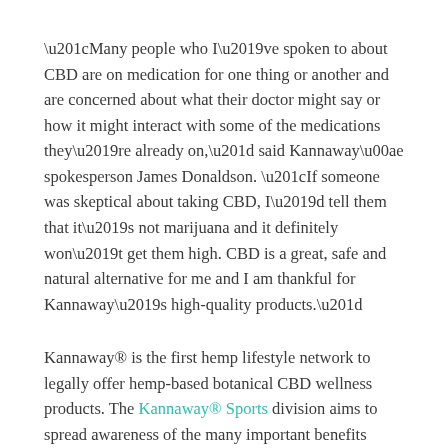“Many people who I’ve spoken to about CBD are on medication for one thing or another and are concerned about what their doctor might say or how it might interact with some of the medications they’re already on,” said Kannaway® spokesperson James Donaldson. “If someone was skeptical about taking CBD, I’d tell them that it’s not marijuana and it definitely won’t get them high. CBD is a great, safe and natural alternative for me and I am thankful for Kannaway’s high-quality products.”
Kannaway® is the first hemp lifestyle network to legally offer hemp-based botanical CBD wellness products. The Kannaway® Sports division aims to spread awareness of the many important benefits CBD offers for professional and amateur athletes, connecting former NFL athletes with the education and products they need to help them live happier, more fulfilling lives.